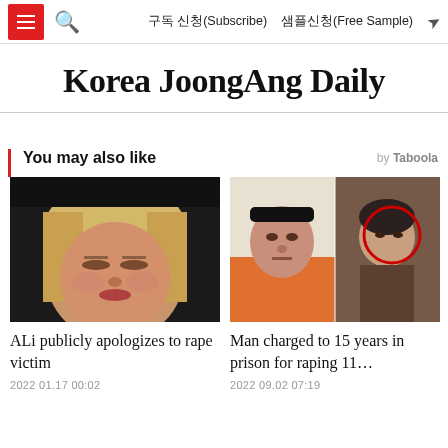Korea JoongAng Daily navigation bar with subscribe options
Korea JoongAng Daily
You may also like
[Figure (photo): Woman with closed eyes and blonde hair, appearing distressed]
ALi publicly apologizes to rape victim
2022 01.17 00:02
[Figure (photo): Two male mugshot/CCTV photos side by side, one circled in red]
Man charged to 15 years in prison for raping 11…
2022 09.02 07:19